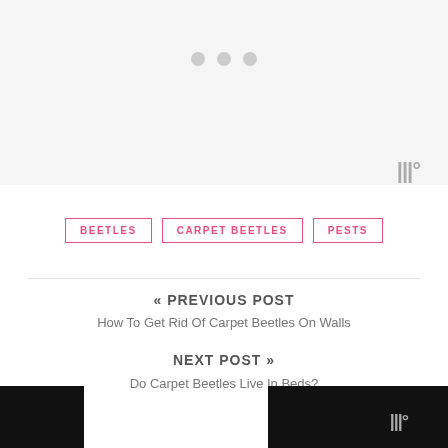[Figure (other): Gray image placeholder area with three pagination dots and a logo mark in the bottom right]
BEETLES
CARPET BEETLES
PESTS
« PREVIOUS POST
How To Get Rid Of Carpet Beetles On Walls
NEXT POST »
Do Carpet Beetles Live In Beds?